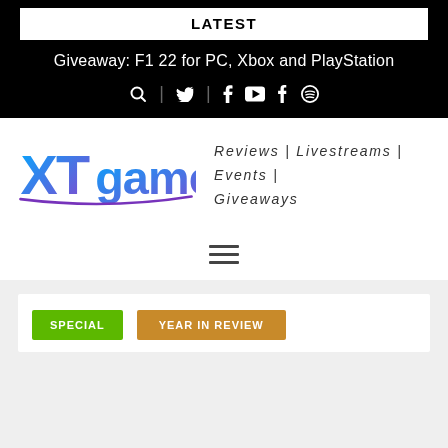LATEST
Giveaway: F1 22 for PC, Xbox and PlayStation
[Figure (other): Social media icons row: search, Twitter, Facebook, YouTube, Tumblr, Spotify]
[Figure (logo): XTgamer logo - colorful gradient text logo in blue and purple]
Reviews | Livestreams | Events | Giveaways
[Figure (other): Hamburger menu icon with three horizontal lines]
SPECIAL
YEAR IN REVIEW